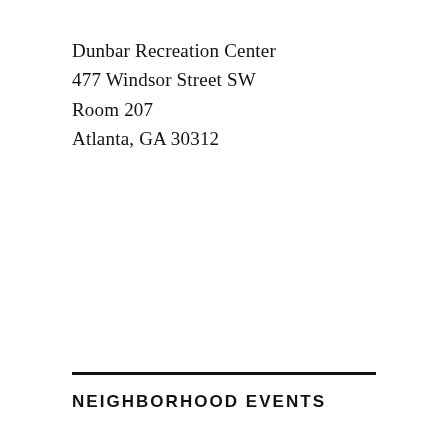Dunbar Recreation Center
477 Windsor Street SW
Room 207
Atlanta, GA 30312
NEIGHBORHOOD EVENTS